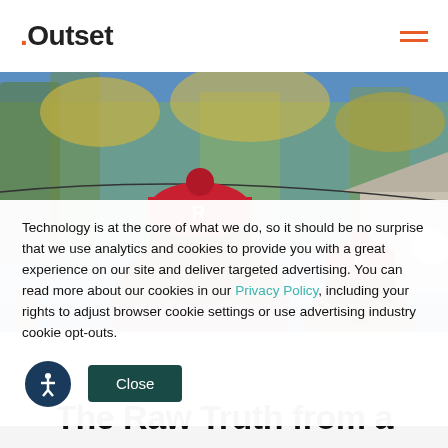.Outset
[Figure (photo): Two people wearing red knit hats with the letter R outdoors with trees in the background on a sunny day]
Technology is at the core of what we do, so it should be no surprise that we use analytics and cookies to provide you with a great experience on our site and deliver targeted advertising. You can read more about our cookies in our Privacy Policy, including your rights to adjust browser cookie settings or use advertising industry cookie opt-outs.
The Raw Truth from a